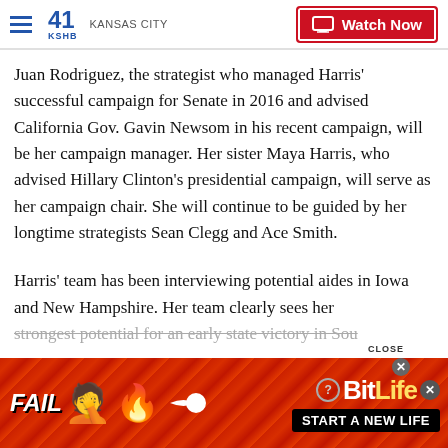41 KSHB KANSAS CITY | Watch Now
Juan Rodriguez, the strategist who managed Harris' successful campaign for Senate in 2016 and advised California Gov. Gavin Newsom in his recent campaign, will be her campaign manager. Her sister Maya Harris, who advised Hillary Clinton's presidential campaign, will serve as her campaign chair. She will continue to be guided by her longtime strategists Sean Clegg and Ace Smith.
Harris' team has been interviewing potential aides in Iowa and New Hampshire. Her team clearly sees her strongest potential for an early state victory in Sou…
[Figure (screenshot): BitLife advertisement banner at the bottom of the page with 'FAIL' text, cartoon emoji, flame, sperm icon, BitLife logo, and 'START A NEW LIFE' text on black background]